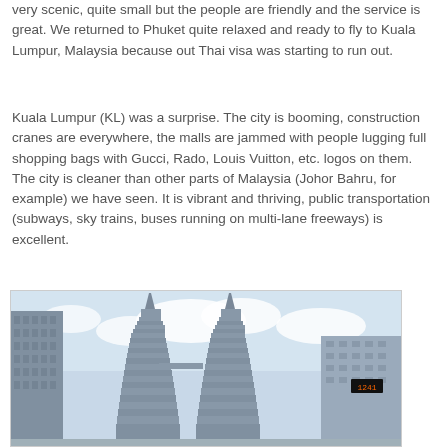very scenic, quite small but the people are friendly and the service is great. We returned to Phuket quite relaxed and ready to fly to Kuala Lumpur, Malaysia because out Thai visa was starting to run out.
Kuala Lumpur (KL) was a surprise. The city is booming, construction cranes are everywhere, the malls are jammed with people lugging full shopping bags with Gucci, Rado, Louis Vuitton, etc. logos on them. The city is cleaner than other parts of Malaysia (Johor Bahru, for example) we have seen. It is vibrant and thriving, public transportation (subways, sky trains, buses running on multi-lane freeways) is excellent.
[Figure (photo): Photo of Kuala Lumpur Petronas Twin Towers viewed from below against a partly cloudy sky, with other skyscrapers visible on either side. A building with an illuminated digital display showing '1241' is visible on the right.]